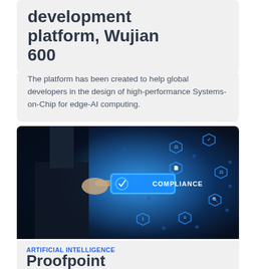development platform, Wujian 600
The platform has been created to help global developers in the design of high-performance Systems-on-Chip for edge-AI computing.
[Figure (photo): Person in suit pointing at a glowing blue digital compliance interface with hexagonal icons including a gavel, checklist, magnifying glass, and warning symbol, with the word COMPLIANCE prominently displayed in the center.]
ARTIFICIAL INTELLIGENCE
Proofpoint launches Intelligent Compliance